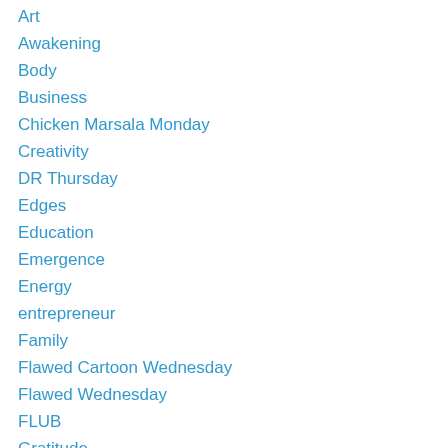Art
Awakening
Body
Business
Chicken Marsala Monday
Creativity
DR Thursday
Edges
Education
Emergence
Energy
entrepreneur
Family
Flawed Cartoon Wednesday
Flawed Wednesday
FLUB
Gratitude
Heroes
Identity
Intuition